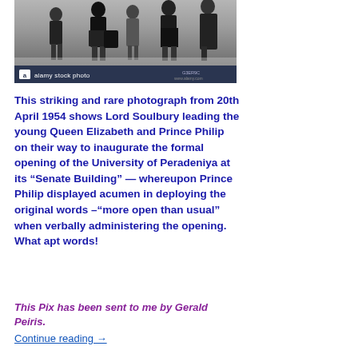[Figure (photo): Black and white Alamy stock photo showing people walking, with watermark bar at bottom reading 'alamy stock photo']
This striking and rare photograph from 20th April 1954 shows Lord Soulbury leading the young Queen Elizabeth and Prince Philip on their way to inaugurate the formal opening of the University of Peradeniya at its “Senate Building” — whereupon Prince Philip displayed acumen in deploying the original words –“more open than usual” when verbally administering the opening. What apt words!
This Pix has been sent to me by Gerald Peiris.
Continue reading →